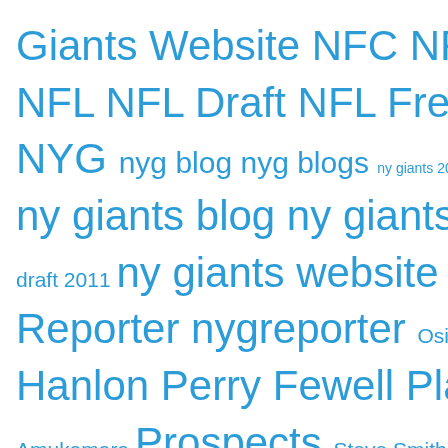[Figure (infographic): Tag cloud with NFL/NY Giants related terms in varying font sizes, all in blue. Larger tags include: Giants Website, NFC, NFC East, NFL, NFL Draft, NFL Free Agency, NYG, nyg blog, nyg blogs, ny giants blog, ny giants blogs, ny giants website, NYG Reporter, nygreporter, Pat Hanlon, Perry Fewell, Players, Prospects, Steve Tisch, Tim Mara, Tom Coughlin. Smaller tags include: ny giants 2011 draft, ny giants draft 2011, Osi Umenyiora, Prince Amukamara, Steve Smith, the 2011 nfl lockout.]